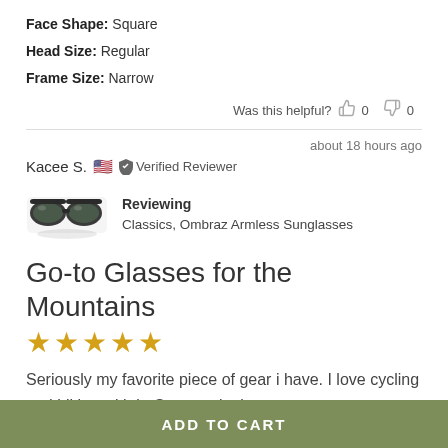Face Shape: Square
Head Size: Regular
Frame Size: Narrow
Was this helpful? 0 0
about 18 hours ago
Kacee S. 🇺🇸 ✔ Verified Reviewer
[Figure (photo): Product image of Classics Ombraz Armless Sunglasses - dark aviator style sunglasses]
Reviewing Classics, Ombraz Armless Sunglasses
Go-to Glasses for the Mountains
[Figure (other): 5 star rating shown as gold stars]
Seriously my favorite piece of gear i have. I love cycling and hiking with it. Gonna take it up some
ADD TO CART